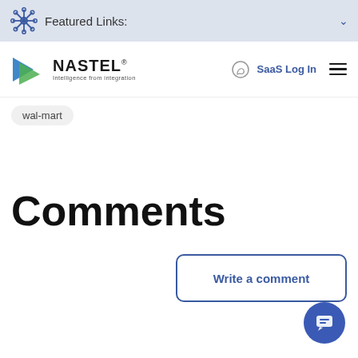Featured Links:
[Figure (logo): Nastel logo with arrow icon and tagline 'Intelligence from integration']
SaaS Log In
wal-mart
Comments
Write a comment